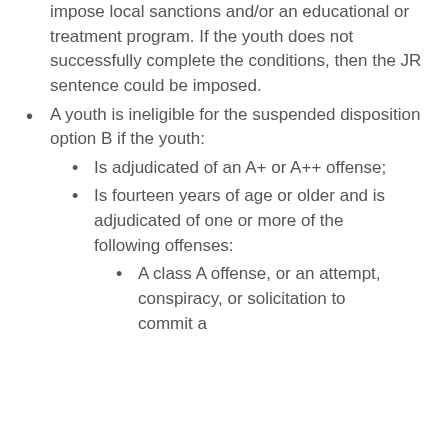impose local sanctions and/or an educational or treatment program. If the youth does not successfully complete the conditions, then the JR sentence could be imposed.
A youth is ineligible for the suspended disposition option B if the youth:
Is adjudicated of an A+ or A++ offense;
Is fourteen years of age or older and is adjudicated of one or more of the following offenses:
A class A offense, or an attempt, conspiracy, or solicitation to commit a